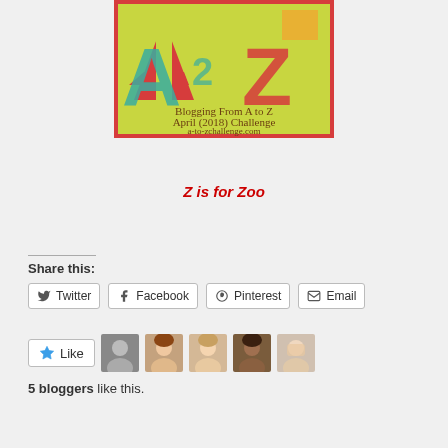[Figure (logo): A2Z Blogging From A to Z April (2018) Challenge banner with colorful letters A and Z on yellow-green background, text reads 'Blogging From A to Z April (2018) Challenge a-to-zchallenge.com']
Z is for Zoo
Share this:
Twitter  Facebook  Pinterest  Email
Like  [5 blogger avatars]
5 bloggers like this.